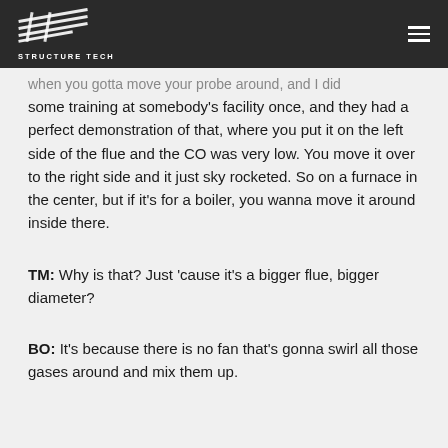STRUCTURE TECH
when you gotta move your probe around, and I did some training at somebody's facility once, and they had a perfect demonstration of that, where you put it on the left side of the flue and the CO was very low. You move it over to the right side and it just sky rocketed. So on a furnace in the center, but if it's for a boiler, you wanna move it around inside there.
TM: Why is that? Just 'cause it's a bigger flue, bigger diameter?
BO: It's because there is no fan that's gonna swirl all those gases around and mix them up.